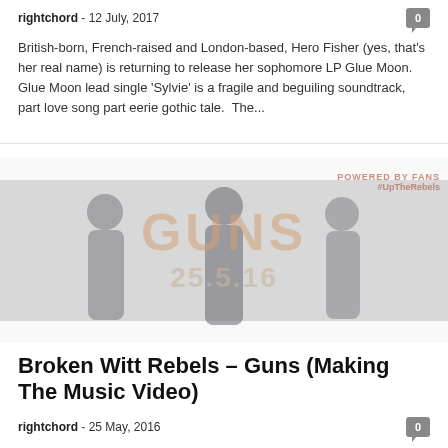rightchord  -  12 July, 2017
British-born, French-raised and London-based, Hero Fisher (yes, that's her real name) is returning to release her sophomore LP Glue Moon. Glue Moon lead single 'Sylvie' is a fragile and beguiling soundtrack, part love song part eerie gothic tale.  The...
[Figure (photo): Promotional image for Broken Witt Rebels - Guns, showing silhouettes of band members against a light background with large text 'GUNS' and '25.5.16', with watermark text 'POWERED BY FANS #UpTheRebels']
Broken Witt Rebels – Guns (Making The Music Video)
rightchord  -  25 May, 2016
Jake Hawkins from music video production company The Red Red explains the